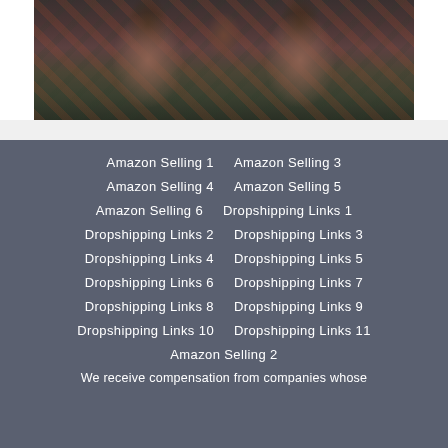[Figure (photo): Photo of two women wearing floral print clothing, cropped to show upper body and hair]
Amazon Selling 1
Amazon Selling 3
Amazon Selling 4
Amazon Selling 5
Amazon Selling 6
Dropshipping Links 1
Dropshipping Links 2
Dropshipping Links 3
Dropshipping Links 4
Dropshipping Links 5
Dropshipping Links 6
Dropshipping Links 7
Dropshipping Links 8
Dropshipping Links 9
Dropshipping Links 10
Dropshipping Links 11
Amazon Selling 2
We receive compensation from companies whose